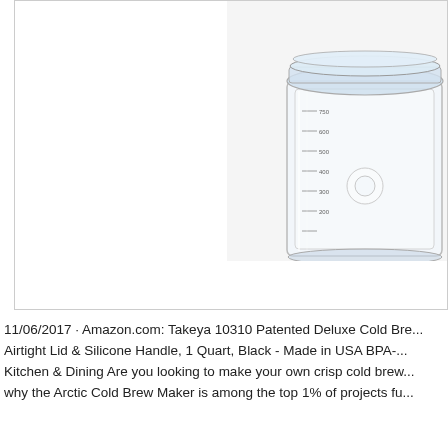[Figure (photo): Product photo of a clear glass cold brew maker jar with measurement markings, partially visible at the top right of the image box. The jar has a square/rectangular shape with a glass lid. The image is cropped, showing only the upper right portion of the product against a white background.]
11/06/2017 · Amazon.com: Takeya 10310 Patented Deluxe Cold Bre... Airtight Lid & Silicone Handle, 1 Quart, Black - Made in USA BPA-... Kitchen & Dining Are you looking to make your own crisp cold brew... why the Arctic Cold Brew Maker is among the top 1% of projects fu...